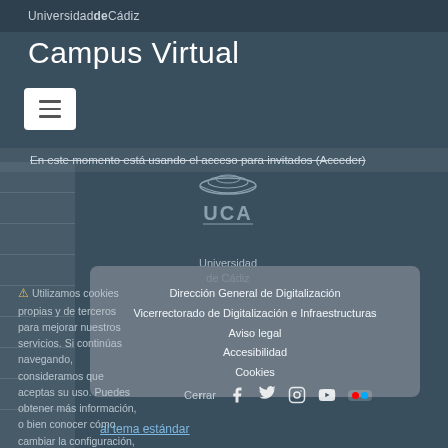UniversidaddeCádiz
Campus Virtual
[Figure (logo): UCA Universidad de Cádiz logo with stylized emblem]
En este momento está usando el acceso para invitados (Acceder)
Dirección General de Digitalización
Vicerrectorado de Digitalización e Infraestructuras
Aviso legal
Accesibilidad
Cookies
⚠ Utilizamos cookies propias y de terceros para mejorar nuestros servicios. Si continúas navegando, consideramos que aceptas su uso. Puedes obtener más información, o bien conocer cómo cambiar la configuración, en nuestra política de cookies.
Cerrar  al tema estándar